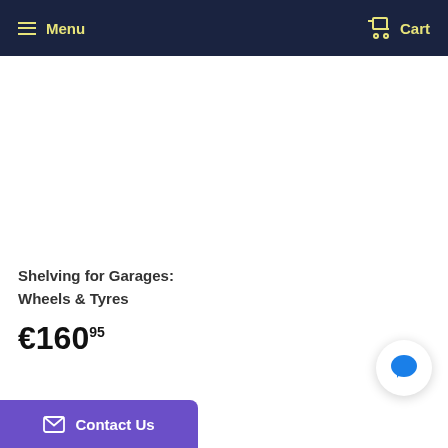Menu  Cart
Shelving for Garages: Wheels & Tyres
€160.95
[Figure (illustration): Blue speech bubble chat icon button (circular white background)]
Contact Us